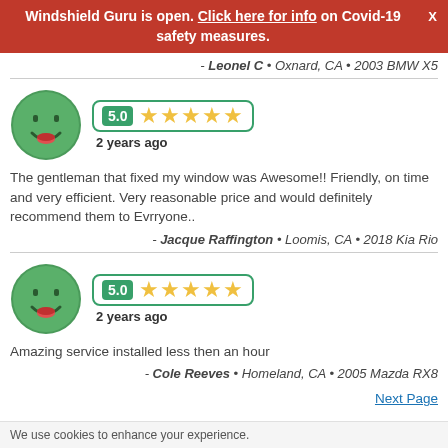Windshield Guru is open. Click here for info on Covid-19 safety measures.
- Leonel C • Oxnard, CA • 2003 BMW X5
[Figure (infographic): Green smiley face avatar with 5.0 star rating (5 yellow stars) and '2 years ago' label]
The gentleman that fixed my window was Awesome!! Friendly, on time and very efficient. Very reasonable price and would definitely recommend them to Evrryone..
- Jacque Raffington • Loomis, CA • 2018 Kia Rio
[Figure (infographic): Green smiley face avatar with 5.0 star rating (5 yellow stars) and '2 years ago' label]
Amazing service installed less then an hour
- Cole Reeves • Homeland, CA • 2005 Mazda RX8
Next Page
We use cookies to enhance your experience.